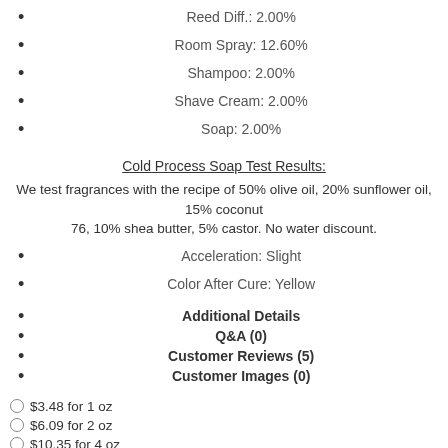Reed Diff.: 2.00%
Room Spray: 12.60%
Shampoo: 2.00%
Shave Cream: 2.00%
Soap: 2.00%
Cold Process Soap Test Results:
We test fragrances with the recipe of 50% olive oil, 20% sunflower oil, 15% coconut 76, 10% shea butter, 5% castor. No water discount.
Acceleration: Slight
Color After Cure: Yellow
Additional Details
Q&A (0)
Customer Reviews (5)
Customer Images (0)
$3.48 for 1 oz
$6.09 for 2 oz
$10.35 for 4 oz